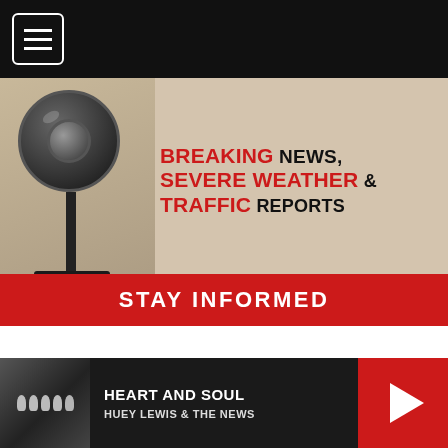[Figure (screenshot): Top navigation bar with hamburger menu icon on black background]
[Figure (photo): Breaking News, Severe Weather & Traffic Reports - Stay Informed advertisement banner with microphone/camera image]
Promoted Content
Sponsored Links by Taboola
[Figure (photo): Photo of person with dark hair, blurred background]
[Figure (screenshot): Music player bar showing 'Heart and Soul' by Huey Lewis & The News with album art and play button]